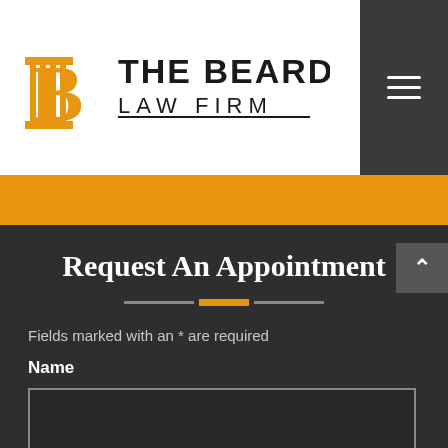[Figure (logo): The Bearden Law Firm logo with orange B column icon and dark serif text]
Request An Appointment
Fields marked with an * are required
Name
Email *